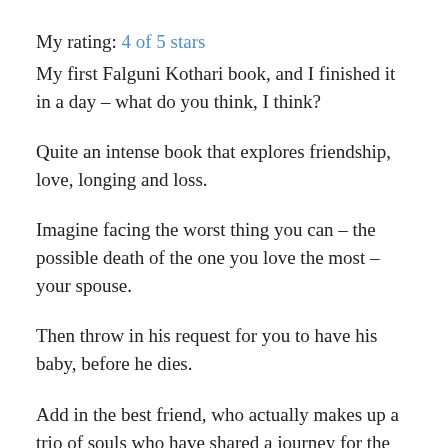My rating: 4 of 5 stars
My first Falguni Kothari book, and I finished it in a day – what do you think, I think?
Quite an intense book that explores friendship, love, longing and loss.
Imagine facing the worst thing you can – the possible death of the one you love the most – your spouse.
Then throw in his request for you to have his baby, before he dies.
Add in the best friend, who actually makes up a trio of souls who have shared a journey for the best part of their life, together.